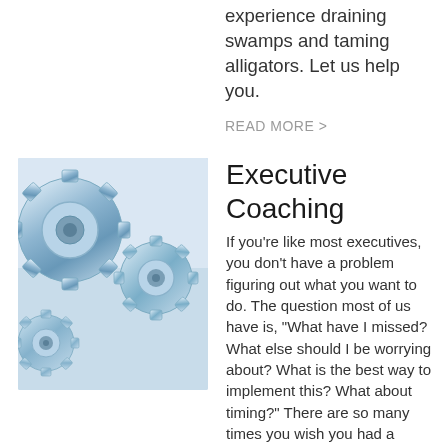experience draining swamps and taming alligators.  Let us help you.
READ MORE >
[Figure (photo): Close-up photo of metallic silver gear cogs on a light blue background, representing executive coaching and business machinery]
Executive Coaching
If you're like most executives, you don't have a problem figuring out what you want to do.  The question most of us have is, "What have I missed?  What else should I be worrying about?  What is the best way to implement this?  What about timing?"  There are so many times you wish you had a second set of eyes on something, but you don't necessarily want those eyes to come from within